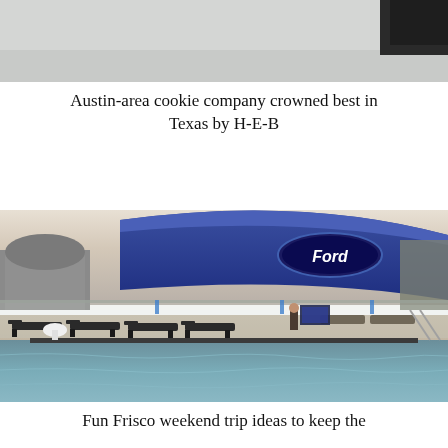[Figure (photo): Cropped top portion of an image, appears to show a dark object against a light background]
Austin-area cookie company crowned best in Texas by H-E-B
[Figure (photo): Rooftop pool area with lounge chairs overlooking Ford Center stadium in Frisco, Texas at dusk]
Fun Frisco weekend trip ideas to keep the